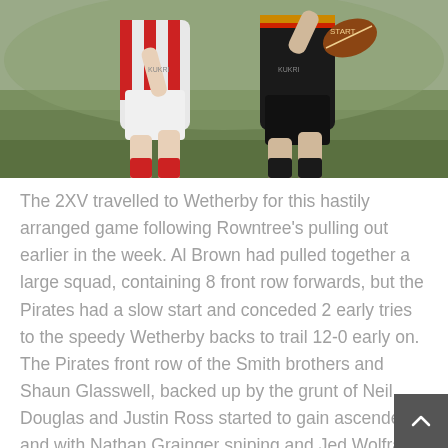[Figure (photo): Rugby players in action — one in red and white striped jersey, another in black jersey carrying a ball, on a green grass pitch]
The 2XV travelled to Wetherby for this hastily arranged game following Rowntree's pulling out earlier in the week. Al Brown had pulled together a large squad, containing 8 front row forwards, but the Pirates had a slow start and conceded 2 early tries to the speedy Wetherby backs to trail 12-0 early on. The Pirates front row of the Smith brothers and Shaun Glasswell, backed up by the grunt of Neil Douglas and Justin Ross started to gain ascendency and with Nathan Grainger sniping and Jed Wolfram running things from No10, the Pirates found themselves camped on the Wetherby line. With Nathan Wake showing off his skills at No8, and George Booth making big carries,